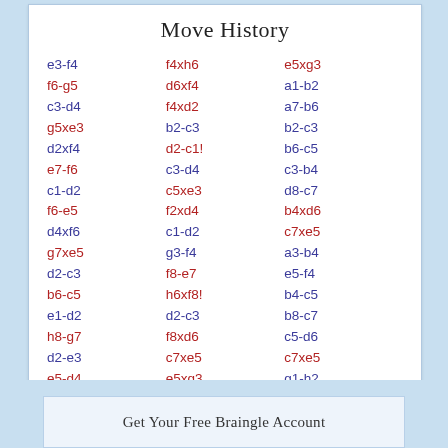Move History
Column 1: e3-f4, f6-g5, c3-d4, g5xe3, d2xf4, e7-f6, c1-d2, f6-e5, d4xf6, g7xe5, d2-c3, b6-c5, e1-d2, h8-g7, d2-e3, e5-d4, c3xe5, h6-g5
Column 2: f4xh6, d6xf4, f4xd2, b2-c3, d2-c1!, c3-d4, c5xe3, f2xd4, c1-d2, g3-f4, f8-e7, h6xf8!, d2-c3, f8xd6, c7xe5, e5xg3, h2xf4, c3xe5
Column 3: e5xg3, a1-b2, a7-b6, b2-c3, b6-c5, c3-b4, d8-c7, b4xd6, c7xe5, a3-b4, e5-f4, b4-c5, b8-c7, c5-d6, c7xe5, g1-h2
Get Your Free Braingle Account